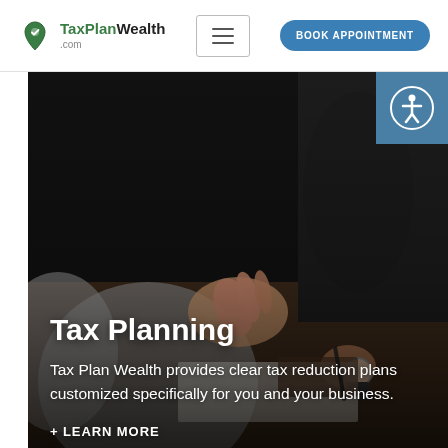TaxPlanWealth.com | BOOK APPOINTMENT
[Figure (photo): Two people in a business meeting, one gesturing with hands, one writing on paper at a wooden table — dark moody background, close-up from behind]
Tax Planning
Tax Plan Wealth provides clear tax reduction plans customized specifically for you and your business.
+ LEARN MORE